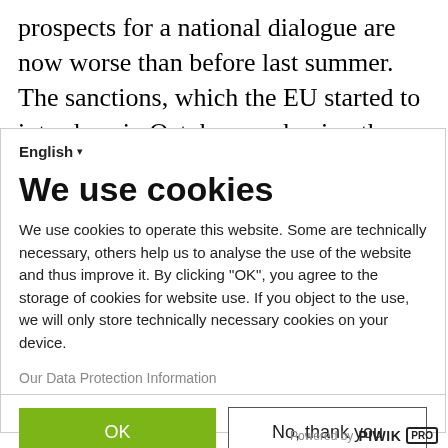prospects for a national dialogue are now worse than before last summer. The sanctions, which the EU started to introduce in October, are having the very same effect (zero!) and are only aggravating the situation on the ground (see below).
English ▾
We use cookies
We use cookies to operate this website. Some are technically necessary, others help us to analyse the use of the website and thus improve it. By clicking "OK", you agree to the storage of cookies for website use. If you object to the use, we will only store technically necessary cookies on your device.
Our Data Protection Information
OK
No, thank you
Powered by PIWIK PRO